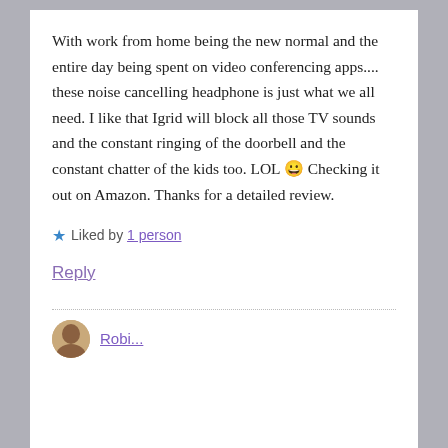With work from home being the new normal and the entire day being spent on video conferencing apps.... these noise cancelling headphone is just what we all need. I like that Igrid will block all those TV sounds and the constant ringing of the doorbell and the constant chatter of the kids too. LOL 😀 Checking it out on Amazon. Thanks for a detailed review.
★ Liked by 1 person
Reply
[Figure (photo): Small circular avatar photo of a person at the bottom of the page]